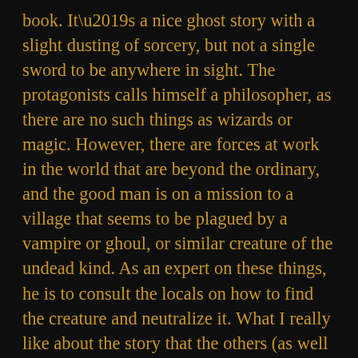book. It’s a nice ghost story with a slight dusting of sorcery, but not a single sword to be anywhere in sight. The protagonists calls himself a philosopher, as there are no such things as wizards or magic. However, there are forces at work in the world that are beyond the ordinary, and the good man is on a mission to a village that seems to be plagued by a vampire or ghoul, or similar creature of the undead kind. As an expert on these things, he is to consult the locals on how to find the creature and neutralize it. What I really like about the story that the others (as well as the two books of Fafhrd and the Gray Mouser I’ve just been reading) had been lacking, is that the story begins with telling the reader what the story is